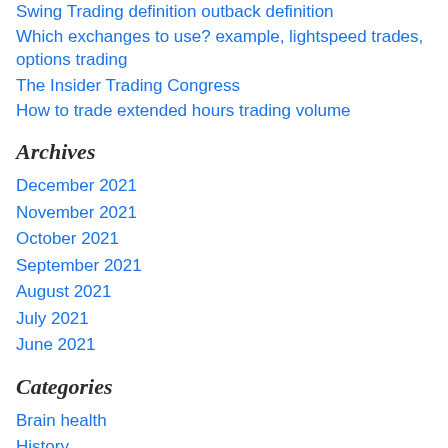Swing Trading definition outback definition
Which exchanges to use? example, lightspeed trades, options trading
The Insider Trading Congress
How to trade extended hours trading volume
Archives
December 2021
November 2021
October 2021
September 2021
August 2021
July 2021
June 2021
Categories
Brain health
History
News